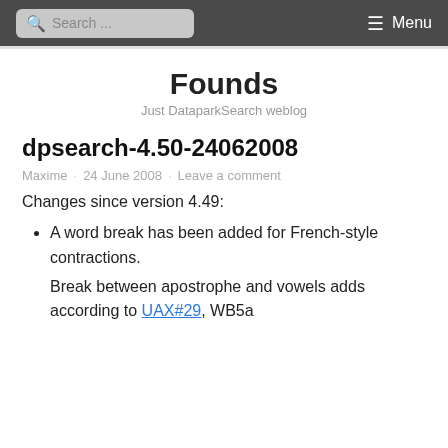Search ... Menu
Founds
Just DataparkSearch weblog
dpsearch-4.50-24062008
Maxime · 24 June 2008 · Leave a comment
Changes since version 4.49:
A word break has been added for French-style contractions.
Break between apostrophe and vowels adds according to UAX#29, WB5a